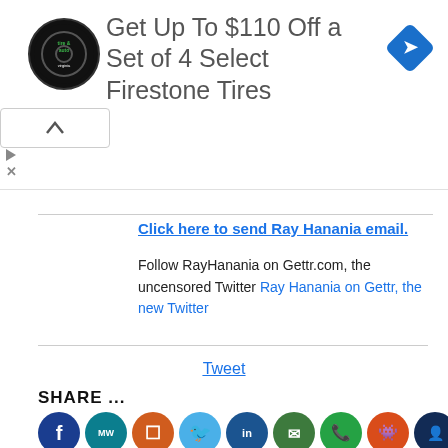[Figure (advertisement): Ad banner: Firestone tire & auto logo on black circle background, text 'Get Up To $110 Off a Set of 4 Select Firestone Tires', blue diamond navigation icon on right]
Click here to send Ray Hanania email.
Follow RayHanania on Gettr.com, the uncensored Twitter Ray Hanania on Gettr, the new Twitter
Tweet
SHARE ...
[Figure (infographic): Social media share icon buttons row: Facebook (dark blue), MeWe (teal), Parler (orange), Twitter (light blue), LinkedIn (dark blue), Email (forest green), WhatsApp (green), Reddit (orange-red), FriendsPlus (dark navy)]